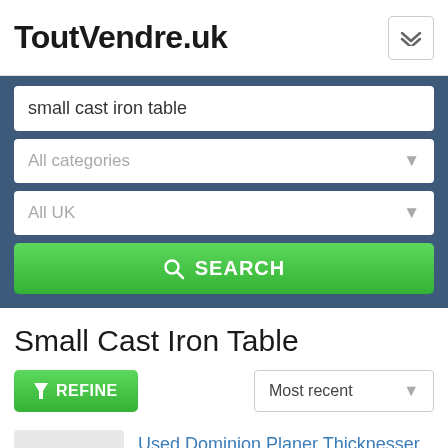ToutVendre.uk
small cast iron table
All categories
All UK
SEARCH
Small Cast Iron Table
REFINE
Most recent
[Figure (photo): Placeholder thumbnail image with camera icon]
Used Dominion Planer Thicknesser 16" 3-phase with DC br...